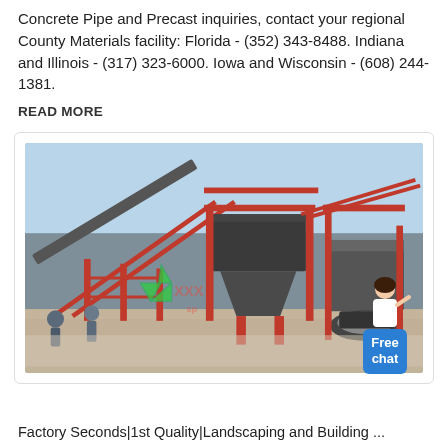Concrete Pipe and Precast inquiries, contact your regional County Materials facility: Florida - (352) 343-8488. Indiana and Illinois - (317) 323-6000. Iowa and Wisconsin - (608) 244-1381.
READ MORE
[Figure (photo): Industrial heavy machinery / aggregate processing plant with red steel structures, conveyors, hoppers and crushers. Workers visible in foreground. Green recycling logo watermark overlaid. 'Free chat' button with female assistant figure in top right corner.]
Factory Seconds|1st Quality|Landscaping and Building ...